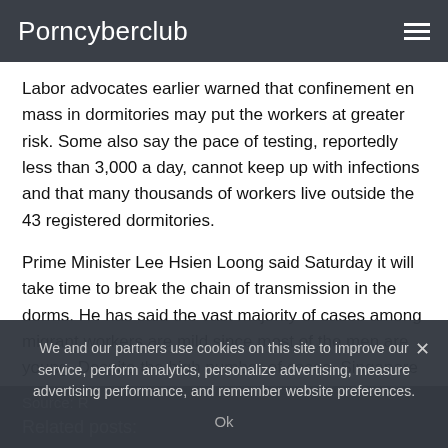Porncyberclub
Labor advocates earlier warned that confinement en mass in dormitories may put the workers at greater risk. Some also say the pace of testing, reportedly less than 3,000 a day, cannot keep up with infections and that many thousands of workers live outside the 43 registered dormitories.
Prime Minister Lee Hsien Loong said Saturday it will take time to break the chain of transmission in the dorms. He has said the vast majority of cases among migrant workers are mild since most of the men are young. Despite the high number of cases, Singapore has only recorded 11 deaths, among the lo...
Source: R...
Related posts:
We and our partners use cookies on this site to improve our service, perform analytics, personalize advertising, measure advertising performance, and remember website preferences.